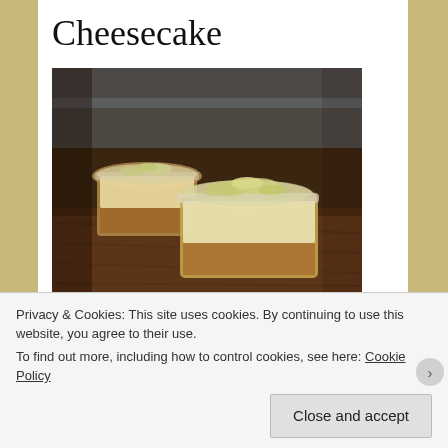Cheesecake
[Figure (photo): Photo of cheesecake desserts served in glass jars, showing layered biscuit base and cream cheese filling topped with crumbled topping, set on a wooden surface.]
This time last year I made a Sambocade, a medieval Elderflower and Cheese Tart. It was rather lovely but I think only four
Privacy & Cookies: This site uses cookies. By continuing to use this website, you agree to their use.
To find out more, including how to control cookies, see here: Cookie Policy
Close and accept